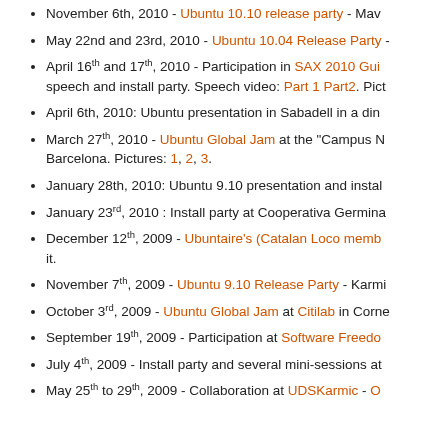November 6th, 2010 - Ubuntu 10.10 release party - Mav...
May 22nd and 23rd, 2010 - Ubuntu 10.04 Release Party -...
April 16th and 17th, 2010 - Participation in SAX 2010 Gui... speech and install party. Speech video: Part 1 Part2. Pict...
April 6th, 2010: Ubuntu presentation in Sabadell in a din...
March 27th, 2010 - Ubuntu Global Jam at the "Campus N... Barcelona. Pictures: 1, 2, 3.
January 28th, 2010: Ubuntu 9.10 presentation and instal...
January 23rd, 2010 : Install party at Cooperativa Germina...
December 12th, 2009 - Ubuntaire's (Catalan Loco memb... it.
November 7th, 2009 - Ubuntu 9.10 Release Party - Karmi...
October 3rd, 2009 - Ubuntu Global Jam at Citilab in Corne...
September 19th, 2009 - Participation at Software Freedo...
July 4th, 2009 - Install party and several mini-sessions at...
May 25th to 29th, 2009 - Collaboration at UDSKarmic - O...